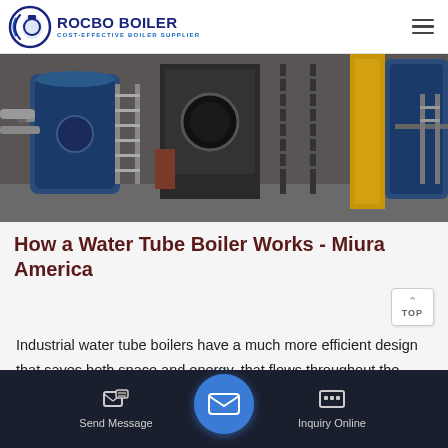ROCBO BOILER - COST-EFFECTIVE BOILER SUPPLIER
[Figure (photo): Industrial boiler room with water tube boilers, blue cylindrical tanks, metal staircases, yellow support columns, and piping systems]
How a Water Tube Boiler Works - Miura America
Industrial water tube boilers have a much more efficient design that saves both space and energy. that flows throughout the boiler. With the water tube design, the water is surrounded by heated gases rather than the other way around. The hot gas moves from the…
Send Message | Inquiry Online